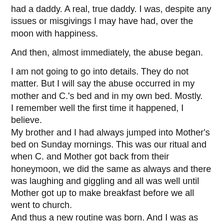had a daddy. A real, true daddy. I was, despite any issues or misgivings I may have had, over the moon with happiness.
And then, almost immediately, the abuse began.
I am not going to go into details. They do not matter. But I will say the abuse occurred in my mother and C.'s bed and in my own bed. Mostly.
I remember well the first time it happened, I believe.
My brother and I had always jumped into Mother's bed on Sunday mornings. This was our ritual and when C. and Mother got back from their honeymoon, we did the same as always and there was laughing and giggling and all was well until Mother got up to make breakfast before we all went to church.
And thus a new routine was born. And I was as confused as I could be.
This was my new daddy who loved me. This was my new daddy who made my mother so happy. This was my new daddy who was making our family complete and whole, finally and at last.
This was my new daddy who was so big and so...